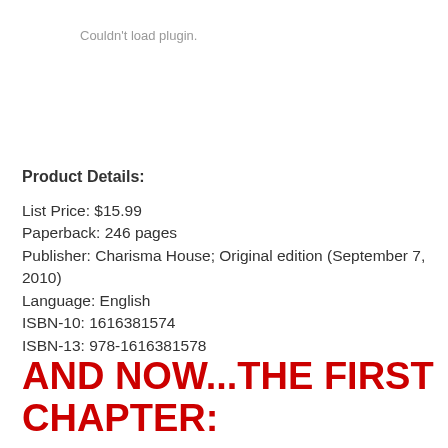Couldn't load plugin.
Product Details:
List Price: $15.99
Paperback: 246 pages
Publisher: Charisma House; Original edition (September 7, 2010)
Language: English
ISBN-10: 1616381574
ISBN-13: 978-1616381578
AND NOW...THE FIRST CHAPTER: